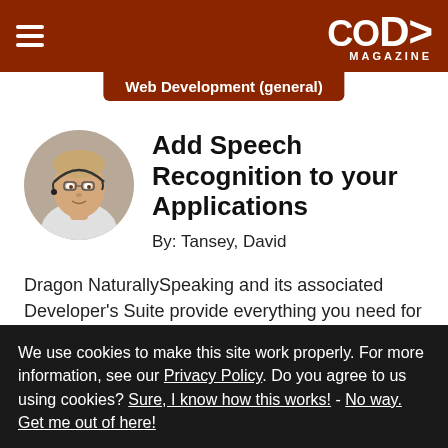CODE Magazine
Web Development (general)
[Figure (photo): Circular headshot of author David Tansey wearing headset and glasses]
Add Speech Recognition to your Applications
By: Tansey, David
Dragon NaturallySpeaking and its associated Developer's Suite provide everything you need for speech recognition:stable ActiveX controls, quality documentation, and end-user
We use cookies to make this site work properly. For more information, see our Privacy Policy. Do you agree to us using cookies? Sure, I know how this works! - No way. Get me out of here!